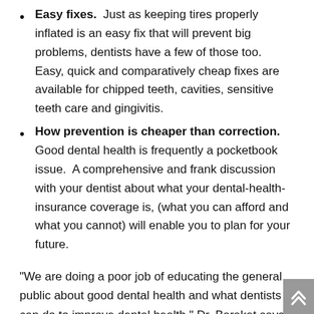Easy fixes. Just as keeping tires properly inflated is an easy fix that will prevent big problems, dentists have a few of those too. Easy, quick and comparatively cheap fixes are available for chipped teeth, cavities, sensitive teeth care and gingivitis.
How prevention is cheaper than correction. Good dental health is frequently a pocketbook issue. A comprehensive and frank discussion with your dentist about what your dental-health-insurance coverage is, (what you can afford and what you cannot) will enable you to plan for your future.
“We are doing a poor job of educating the general public about good dental health and what dentists can do to improve dental health,” Dr. Barakat says. “People need to understand that preventative care works just as well in